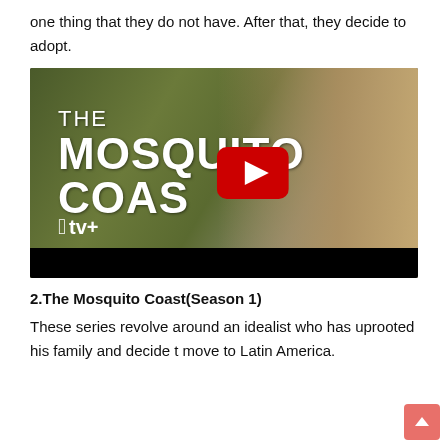one thing that they do not have. After that, they decide to adopt.
[Figure (screenshot): YouTube-style video thumbnail for 'The Mosquito Coast' on Apple TV+, showing a bearded man and white bold text title with a red play button overlay]
2.The Mosquito Coast(Season 1)
These series revolve around an idealist who has uprooted his family and decide t move to Latin America.